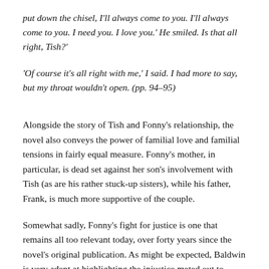put down the chisel, I'll always come to you. I'll always come to you. I need you. I love you.' He smiled. Is that all right, Tish?'
'Of course it's all right with me,' I said. I had more to say, but my throat wouldn't open. (pp. 94-95)
Alongside the story of Tish and Fonny's relationship, the novel also conveys the power of familial love and familial tensions in fairly equal measure. Fonny's mother, in particular, is dead set against her son's involvement with Tish (as are his rather stuck-up sisters), while his father, Frank, is much more supportive of the couple.
Somewhat sadly, Fonny's fight for justice is one that remains all too relevant today, over forty years since the novel's original publication. As might be expected, Baldwin is very adept at highlighting the injustice meted out to